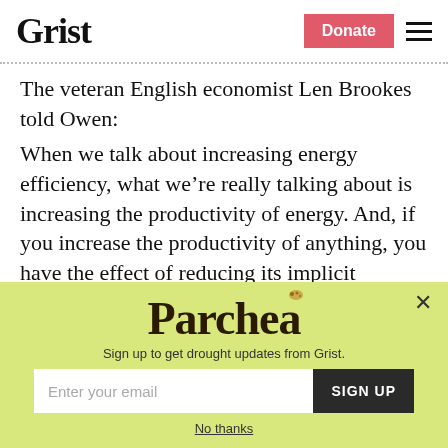Grist | Donate
The veteran English economist Len Brookes told Owen:
When we talk about increasing energy efficiency, what we’re really talking about is increasing the productivity of energy. And, if you increase the productivity of anything, you have the effect of reducing its implicit
[Figure (screenshot): Popup newsletter signup overlay with yellow-green background. Shows 'Parched' title in large serif font, subtitle 'Sign up to get drought updates from Grist.', an email input field with placeholder 'Enter your email', a dark 'SIGN UP' button, a close X button, and a 'No thanks' link.]